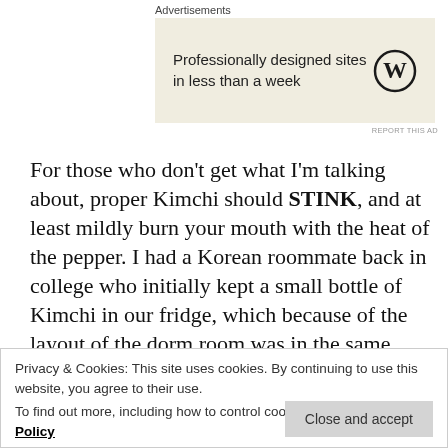Advertisements
[Figure (other): WordPress advertisement banner with text 'Professionally designed sites in less than a week' and WordPress logo on beige background, with 'REPORT THIS AD' link below.]
For those who don't get what I'm talking about, proper Kimchi should STINK, and at least mildly burn your mouth with the heat of the pepper. I had a Korean roommate back in college who initially kept a small bottle of Kimchi in our fridge, which because of the layout of the dorm room was in the same tiny room as our closets… we quickly banned the practice and forced her to keep it downstairs in the dorm room of some other Korean girls, because
Privacy & Cookies: This site uses cookies. By continuing to use this website, you agree to their use.
To find out more, including how to control cookies, see here: Cookie Policy
'home' after spending some time in the States